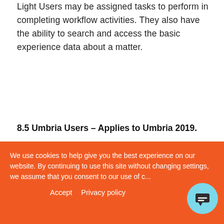Light Users may be assigned tasks to perform in completing workflow activities. They also have the ability to search and access the basic experience data about a matter.
8.5 Umbria Users – Applies to Umbria 2019.
8.5.1. Umbria User. This is a Client Access. An Umbria User license is
We use cookies to help give you the best experience on our website. By continuing to use this site without changing settings, we assume that you consent to our use of c...